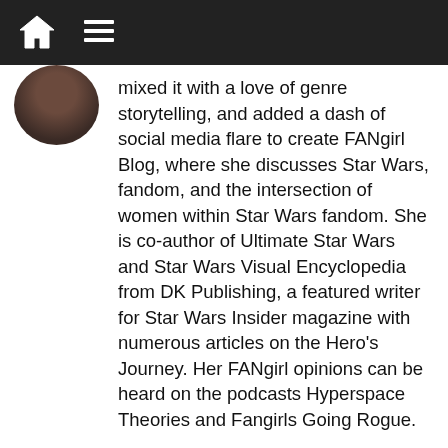Navigation bar with home and menu icons
[Figure (photo): Circular avatar/profile photo of a person]
mixed it with a love of genre storytelling, and added a dash of social media flare to create FANgirl Blog, where she discusses Star Wars, fandom, and the intersection of women within Star Wars fandom. She is co-author of Ultimate Star Wars and Star Wars Visual Encyclopedia from DK Publishing, a featured writer for Star Wars Insider magazine with numerous articles on the Hero's Journey. Her FANgirl opinions can be heard on the podcasts Hyperspace Theories and Fangirls Going Rogue.
Tricia Barr's novel, Wynde, won the 2014 Independent Publisher Book Award Gold Medal for Best Science Fiction/Fantasy/Horror Ebook. She was also part of Silence in the Library's